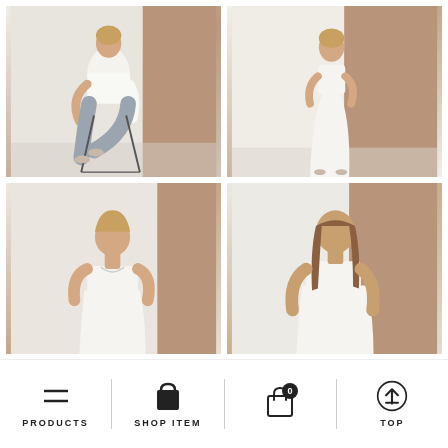[Figure (photo): Fashion photo grid with four images of women in white minimalist clothing against neutral beige/white studio backgrounds. Top-left: woman seated on stool in white shirt and grey trousers. Top-right: woman standing in white maxi dress. Bottom-left: woman in white sleeveless top, cropped. Bottom-right: woman in white top, cropped.]
PRODUCTS | SHOP ITEM | 0 | TOP